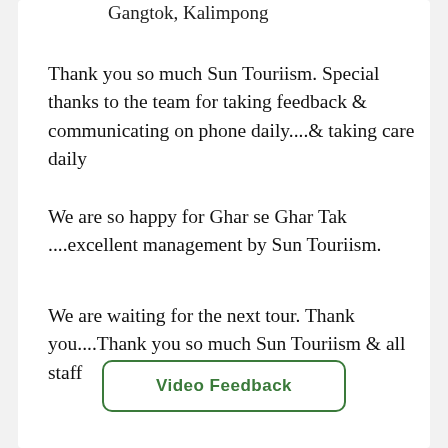Gangtok, Kalimpong
Thank you so much Sun Touriism. Special thanks to the team for taking feedback & communicating on phone daily....& taking care daily
We are so happy for Ghar se Ghar Tak ....excellent management by Sun Touriism.
We are waiting for the next tour. Thank you....Thank you so much Sun Touriism & all staff
Video Feedback